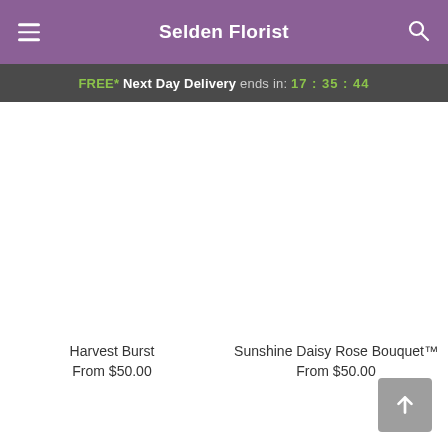Selden Florist
FREE* Next Day Delivery ends in: 17:35:44
[Figure (other): Product image placeholder for Harvest Burst (blank white area)]
Harvest Burst
From $50.00
[Figure (other): Product image placeholder for Sunshine Daisy Rose Bouquet (blank white area)]
Sunshine Daisy Rose Bouquet™
From $50.00